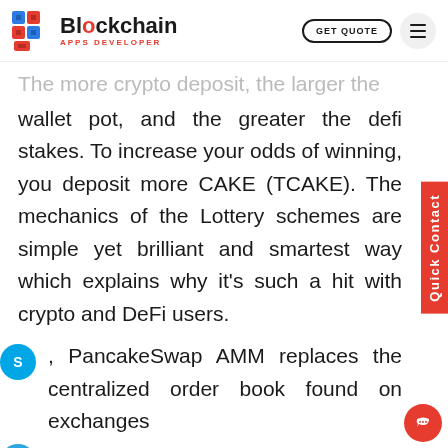Blockchain Apps Developer — GET QUOTE
The more crypto deposit, the larger the wallet pot, and the greater the defi stakes. To increase your odds of winning, you deposit more CAKE (TCAKE). The mechanics of the Lottery schemes are simple yet brilliant and smartest way which explains why it's such a hit with crypto and DeFi users.
PancakeSwap AMM replaces the centralized order book found on exchanges like Coinbase and Binance. This functionality is fortunate for users who want to use PancakeSwap to exchange cryptocurrencies or provide them in return for rewards.